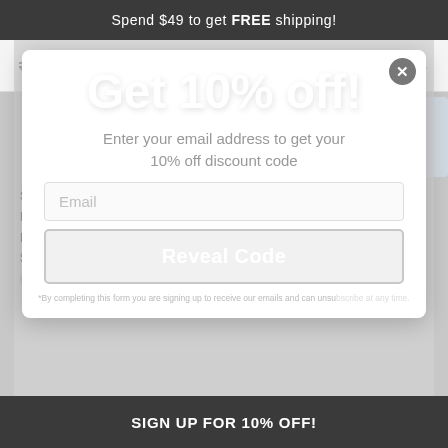Spend $49 to get FREE shipping!
Filter   Sort
Seersucker Pant Pleated Regular Rise $ 145.00
Seersucker Pant Flat Front Regular Rise $ 145.00
Get 10% off!
Enter your email address to get your 10% off discount code
Email
Reveal Code
*By completing this form you are signing up to receive our emails and can unsubscribe at any time.
SIGN UP FOR 10% OFF!